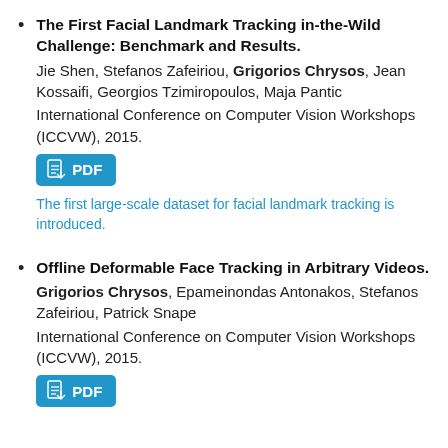The First Facial Landmark Tracking in-the-Wild Challenge: Benchmark and Results. Jie Shen, Stefanos Zafeiriou, Grigorios Chrysos, Jean Kossaifi, Georgios Tzimiropoulos, Maja Pantic. International Conference on Computer Vision Workshops (ICCVW), 2015. [PDF] The first large-scale dataset for facial landmark tracking is introduced.
Offline Deformable Face Tracking in Arbitrary Videos. Grigorios Chrysos, Epameinondas Antonakos, Stefanos Zafeiriou, Patrick Snape. International Conference on Computer Vision Workshops (ICCVW), 2015. [PDF]